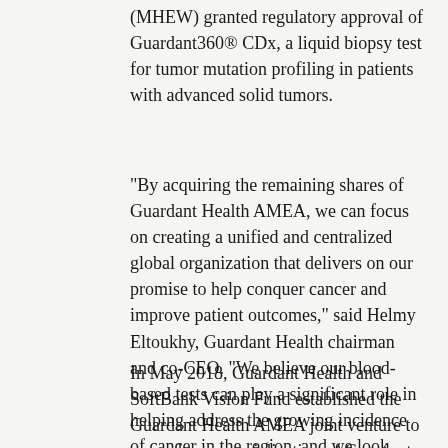(MHEW) granted regulatory approval of Guardant360® CDx, a liquid biopsy test for tumor mutation profiling in patients with advanced solid tumors.
“By acquiring the remaining shares of Guardant Health AMEA, we can focus on creating a unified and centralized global organization that delivers on our promise to help conquer cancer and improve patient outcomes,” said Helmy Eltoukhy, Guardant Health chairman and co-CEO. “We believe our blood-based tests can play a significant role in helping address the growing incidence of cancer in the region, and we look forward to continuing to support patients facing cancer diagnoses as we expand our operations in these markets.”
In May 2018, Guardant Health and SoftBank Vision Fund established the Guardant Health AMEA joint venture to expand commercialization of Guardant Health’s industry-leading liquid biopsy technology across the region. Under the terms of the parties’ joint venture agreement, Guardant Health paid